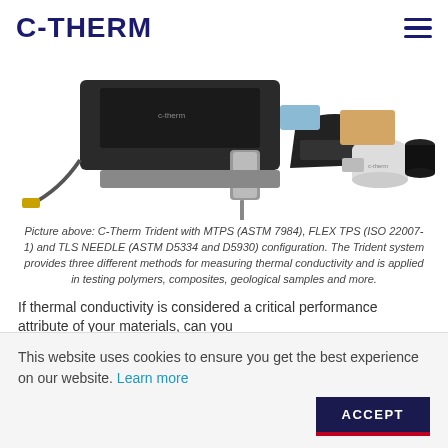C-THERM
[Figure (photo): C-Therm Trident instrument with MTPS sensor, TLS needle probe on left; various material samples including brake pads, powder and vials on right.]
Picture above: C-Therm Trident with MTPS (ASTM 7984), FLEX TPS (ISO 22007-1) and TLS NEEDLE (ASTM D5334 and D5930) configuration. The Trident system provides three different methods for measuring thermal conductivity and is applied in testing polymers, composites, geological samples and more.
If thermal conductivity is considered a critical performance attribute of your materials, can you
This website uses cookies to ensure you get the best experience on our website. Learn more